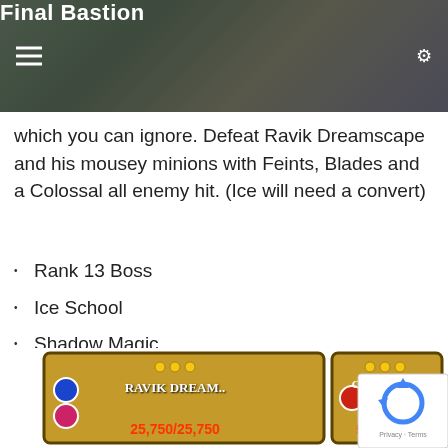Final Bastion
which you can ignore. Defeat Ravik Dreamscape and his mousey minions with Feints, Blades and a Colossal all enemy hit. (Ice will need a convert)
Rank 13 Boss
Ice School
Shadow Magic
25,750 health
3 of the above Cursed Mouse Knights
[Figure (screenshot): Game UI screenshot showing two character cards: 'Ravik Dream..' with 25,750/25,750 health and 'Cursed Mo..' with 5,540/3,540 health, along with a reCAPTCHA badge overlay.]